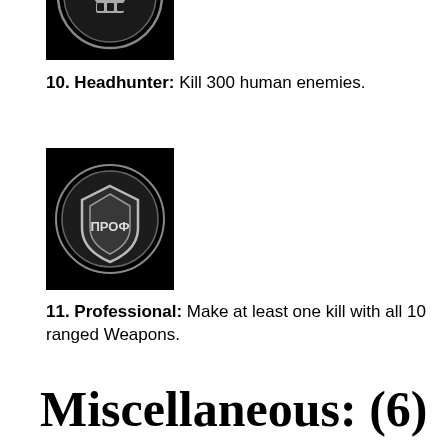[Figure (illustration): Badge icon with skull design on black background]
10. Headhunter: Kill 300 human enemies.
[Figure (illustration): Badge icon with shield/PROF design on black background]
11. Professional: Make at least one kill with all 10 ranged Weapons.
Miscellaneous: (6)
[Figure (illustration): Badge icon partially visible at bottom of page on black background]